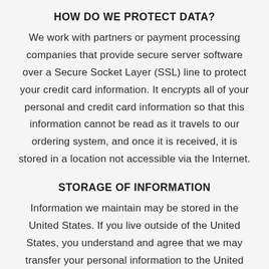HOW DO WE PROTECT DATA?
We work with partners or payment processing companies that provide secure server software over a Secure Socket Layer (SSL) line to protect your credit card information. It encrypts all of your personal and credit card information so that this information cannot be read as it travels to our ordering system, and once it is received, it is stored in a location not accessible via the Internet.
STORAGE OF INFORMATION
Information we maintain may be stored in the United States. If you live outside of the United States, you understand and agree that we may transfer your personal information to the United